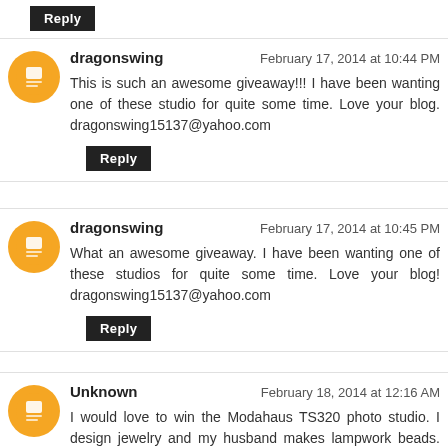Reply
dragonswing — February 17, 2014 at 10:44 PM
This is such an awesome giveaway!!! I have been wanting one of these studio for quite some time. Love your blog. dragonswing15137@yahoo.com
Reply
dragonswing — February 17, 2014 at 10:45 PM
What an awesome giveaway. I have been wanting one of these studios for quite some time. Love your blog! dragonswing15137@yahoo.com
Reply
Unknown — February 18, 2014 at 12:16 AM
I would love to win the Modahaus TS320 photo studio. I design jewelry and my husband makes lampwork beads. Taking photos is always a struggle!